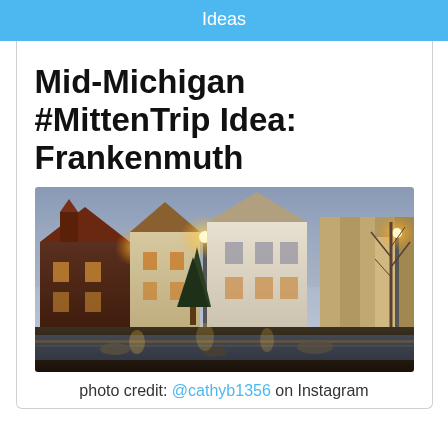Ideas
Mid-Michigan #MittenTrip Idea: Frankenmuth
[Figure (photo): Evening/dusk photo of Frankenmuth, Michigan showing Bavarian-style buildings with warm glowing lights, evergreen trees, a water feature or river in the foreground, and bare trees on the right side.]
photo credit: @cathyb1356 on Instagram